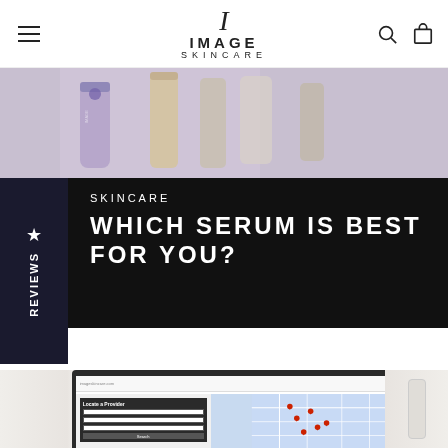IMAGE SKINCARE - navigation header with hamburger menu, logo, search and cart icons
[Figure (photo): Close-up photo of IMAGE Skincare product bottles/tubes in purple and silver tones]
SKINCARE
WHICH SERUM IS BEST FOR YOU?
[Figure (screenshot): Screenshot of IMAGE Skincare website showing a store locator with map interface displaying red pins on a street map, with a form panel on the left. A chat bubble widget is visible on the right side.]
REVIEWS